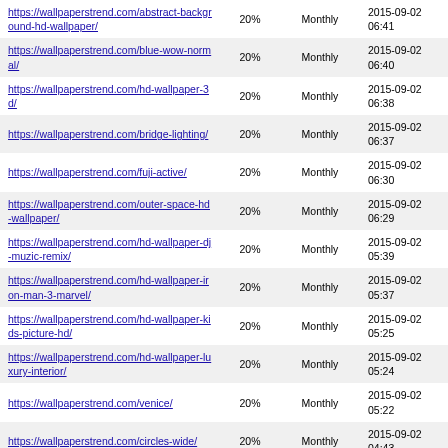| URL | Priority | Change Frequency | Last Modified |
| --- | --- | --- | --- |
| https://wallpaperstrend.com/abstract-background-hd-wallpaper/ | 20% | Monthly | 2015-09-02 06:41 |
| https://wallpaperstrend.com/blue-wow-normal/ | 20% | Monthly | 2015-09-02 06:40 |
| https://wallpaperstrend.com/hd-wallpaper-3d/ | 20% | Monthly | 2015-09-02 06:38 |
| https://wallpaperstrend.com/bridge-lighting/ | 20% | Monthly | 2015-09-02 06:37 |
| https://wallpaperstrend.com/fuji-active/ | 20% | Monthly | 2015-09-02 06:30 |
| https://wallpaperstrend.com/outer-space-hd-wallpaper/ | 20% | Monthly | 2015-09-02 06:29 |
| https://wallpaperstrend.com/hd-wallpaper-dj-muzic-remix/ | 20% | Monthly | 2015-09-02 05:39 |
| https://wallpaperstrend.com/hd-wallpaper-iron-man-3-marvel/ | 20% | Monthly | 2015-09-02 05:37 |
| https://wallpaperstrend.com/hd-wallpaper-kids-picture-hd/ | 20% | Monthly | 2015-09-02 05:25 |
| https://wallpaperstrend.com/hd-wallpaper-luxury-interior/ | 20% | Monthly | 2015-09-02 05:24 |
| https://wallpaperstrend.com/venice/ | 20% | Monthly | 2015-09-02 05:22 |
| https://wallpaperstrend.com/circles-wide/ | 20% | Monthly | 2015-09-02 04:43 |
| https://wallpaperstrend.com/music-dj-hd- | 20% | Monthly | 2015-09-02 |